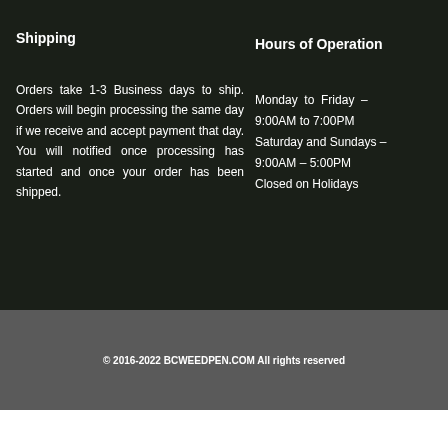Shipping
Orders take 1-3 Business days to ship. Orders will begin processing the same day if we receive and accept payment that day. You will notified once processing has started and once your order has been shipped.
Hours of Operation
Monday to Friday – 9:00AM to 7:00PM
Saturday and Sundays – 9:00AM – 5:00PM
Closed on Holidays
© 2016-2022 BCWEEDPEN.COM All rights reserved